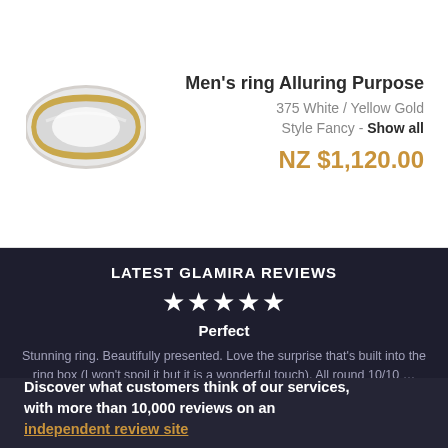[Figure (photo): Men's ring with white gold band and yellow gold edges, shown at an angle on white background]
Men's ring Alluring Purpose
375 White / Yellow Gold
Style Fancy - Show all
NZ $1,120.00
LATEST GLAMIRA REVIEWS
★★★★★
Perfect
Stunning ring. Beautifully presented. Love the surprise that's built into the ring box (I won't spoil it but it is a wonderful touch). All round 10/10 … more
All Reviews: 4.82/5.00  11622 Reviews
▶ View All GLAMIRA Reviews
Discover what customers think of our services, with more than 10,000 reviews on an independent review site